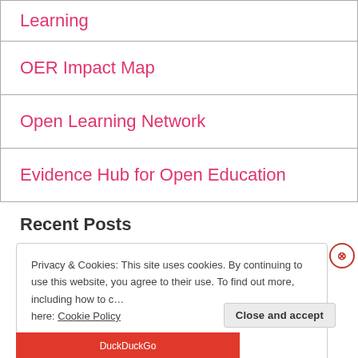| Learning |
| OER Impact Map |
| Open Learning Network |
| Evidence Hub for Open Education |
Recent Posts
Privacy & Cookies: This site uses cookies. By continuing to use this website, you agree to their use. To find out more, including how to control cookies, see here: Cookie Policy
Close and accept